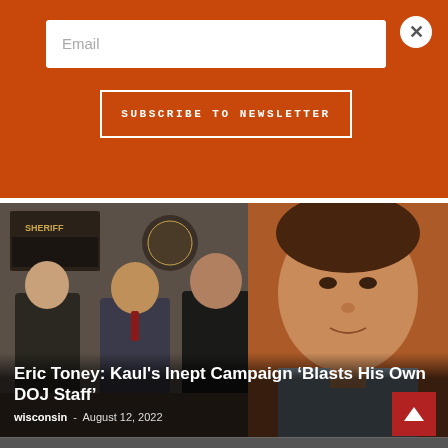Email
Subscribe to Newsletter
[Figure (photo): Group photo of two police officers in uniform and a man in a suit standing in front of Sheriff office plaques, combined with a close-up photo of a man in a blue shirt against an orange-brown background]
Eric Toney: Kaul's Inept Campaign ‘Blasts His Own DOJ Staff’
wisconsin  -  August 12, 2022
[Figure (photo): Two-panel image: left shows men in suits at what appears to be a press conference or public event; right shows a smiling man in a suit with a red tie]